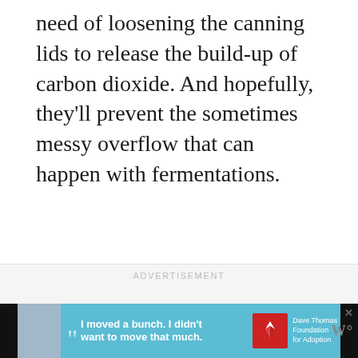need of loosening the canning lids to release the build-up of carbon dioxide. And hopefully, they'll prevent the sometimes messy overflow that can happen with fermentations.
[Figure (other): Advertisement placeholder section with 'ADVERTISEMENT' label in light gray, three gray loading dots, and a banner ad at the bottom featuring a teenage boy photo, quote 'I moved a bunch. I didn't want to move that much.' with Dave Thomas Foundation for Adoption logo]